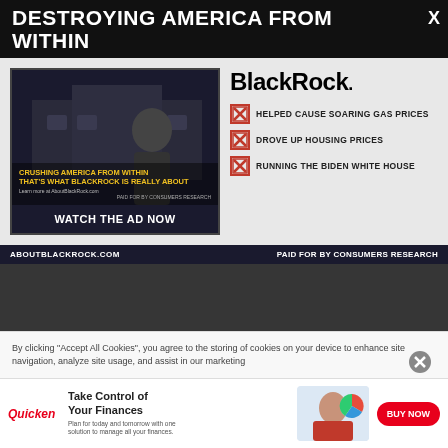BREITBART
DESTROYING AMERICA FROM WITHIN
[Figure (screenshot): Video thumbnail showing man in front of White House with text 'CRUSHING AMERICA FROM WITHIN THAT'S WHAT BLACKROCK IS REALLY ABOUT' and WATCH THE AD NOW button]
BlackRock
HELPED CAUSE SOARING GAS PRICES
DROVE UP HOUSING PRICES
RUNNING THE BIDEN WHITE HOUSE
ABOUTBLACKROCK.COM   PAID FOR BY CONSUMERS RESEARCH
Afghan Deportation by Disrupting Flight
By clicking “Accept All Cookies”, you agree to the storing of cookies on your device to enhance site navigation, analyze site usage, and assist in our marketing
[Figure (other): Quicken ad: Take Control of Your Finances. Plan for today and tomorrow with one solution to manage all your finances. BUY NOW button.]